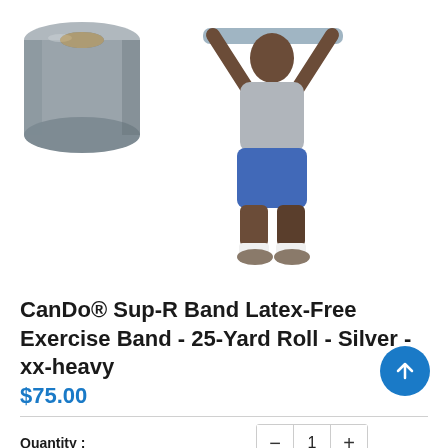[Figure (photo): Product photo showing a grey roll of CanDo Sup-R Band exercise band on the left, and a man in a grey shirt and blue shorts holding the band overhead on the right, both on a white background.]
CanDo® Sup-R Band Latex-Free Exercise Band - 25-Yard Roll - Silver - xx-heavy
$75.00
Quantity : - 1 +